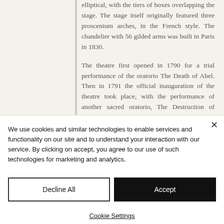elliptical, with the tiers of boxes overlapping the stage. The stage itself originally featured three proscenium arches, in the French style. The chandelier with 56 gilded arms was built in Paris in 1830.
The theatre first opened in 1790 for a trial performance of the oratorio The Death of Abel. Then in 1791 the official inauguration of the theatre took place, with the performance of another sacred oratorio, The Destruction of Jerusalem, by the same composer, Giuseppe Giordani
We use cookies and similar technologies to enable services and functionality on our site and to understand your interaction with our service. By clicking on accept, you agree to our use of such technologies for marketing and analytics.
Decline All
Accept
Cookie Settings